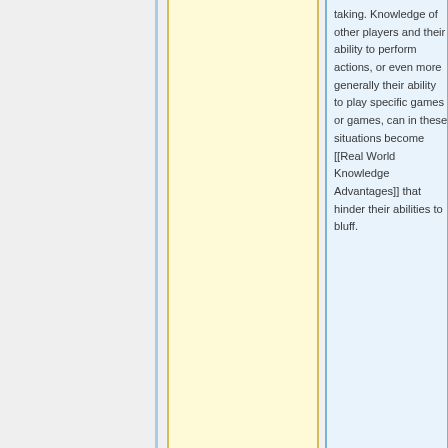taking. Knowledge of other players and their ability to perform actions, or even more generally their ability to play specific games or games, can in these situations become [[Real World Knowledge Advantages]] that hinder their abilities to bluff.
. [[Social Interaction]] provides a flexible basis that easily can